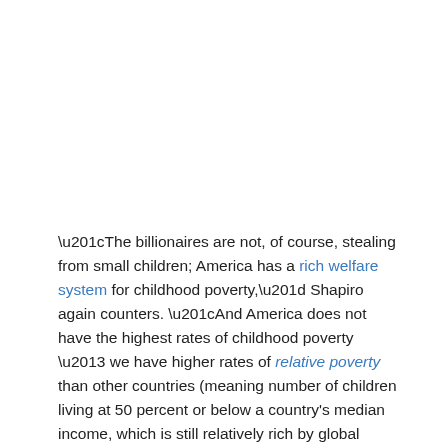“The billionaires are not, of course, stealing from small children; America has a rich welfare system for childhood poverty,” Shapiro again counters. “And America does not have the highest rates of childhood poverty – we have higher rates of relative poverty than other countries (meaning number of children living at 50 percent or below a country's median income, which is still relatively rich by global standards). Even Politifact, a left-wing outlet, has rated Sanders’ statements along these lines ‘mostly false.’”